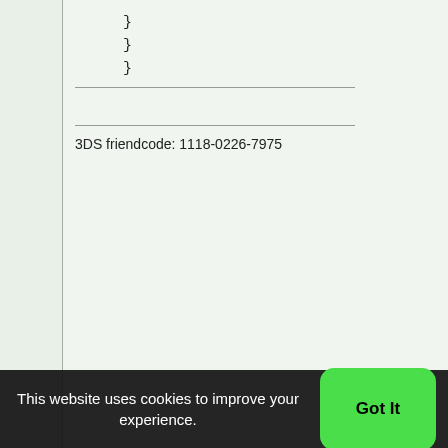} } }
3DS friendcode: 1118-0226-7975
06-03-2017, 11:23 AM  #2
Kamaeru
Sandinista!
Join Date: Dec 2001
Posts: 1,040
Okay I did figure out how to handle this, but still need help understanding how to stop an emitter without using hideimg() which causes a glitch with my script where the variables from the scope of the original emitter add to the new one instead of resetting
This website uses cookies to improve your experience.